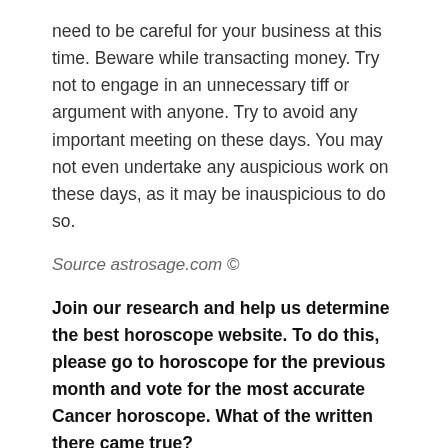need to be careful for your business at this time. Beware while transacting money. Try not to engage in an unnecessary tiff or argument with anyone. Try to avoid any important meeting on these days. You may not even undertake any auspicious work on these days, as it may be inauspicious to do so.
Source astrosage.com ©
Join our research and help us determine the best horoscope website. To do this, please go to horoscope for the previous month and vote for the most accurate Cancer horoscope. What of the written there came true?